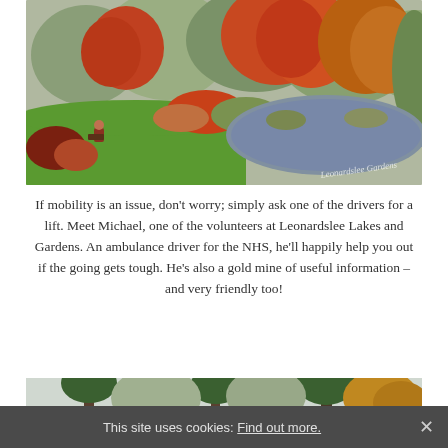[Figure (photo): Autumn garden scene with colourful red, orange, and green trees surrounding a pond; a person sits in a chair on green grass in the foreground. Watermark reads 'Leonardslee Gardens'.]
If mobility is an issue, don't worry; simply ask one of the drivers for a lift. Meet Michael, one of the volunteers at Leonardslee Lakes and Gardens. An ambulance driver for the NHS, he'll happily help you out if the going gets tough. He's also a gold mine of useful information – and very friendly too!
[Figure (photo): Partial view of tall pine and deciduous trees in autumn colours against a pale sky.]
This site uses cookies: Find out more.